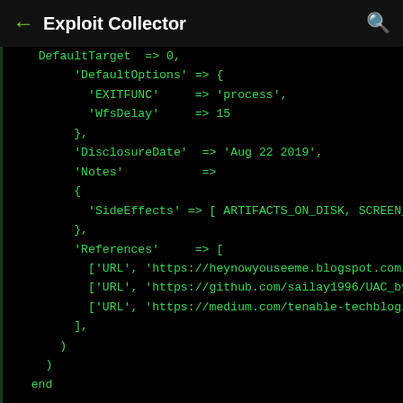Exploit Collector
[Figure (screenshot): Ruby exploit module source code displayed in a dark terminal/code viewer showing DefaultOptions, DisclosureDate, Notes, SideEffects, References, def check, and def exploit sections]